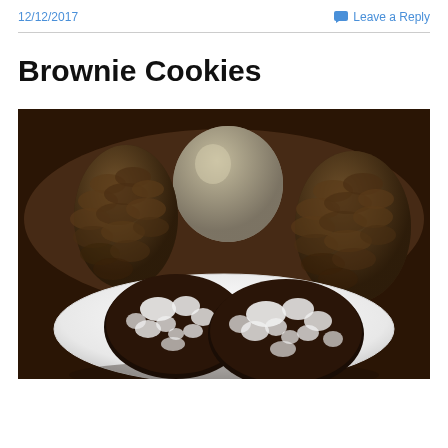12/12/2017   Leave a Reply
Brownie Cookies
[Figure (photo): Two chocolate crinkle cookies dusted with powdered sugar on a white plate, with pine cones and a metallic vase in the background on a dark wooden surface.]